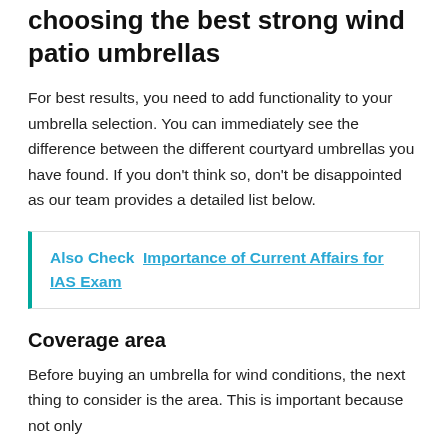Keep these features in mind when choosing the best strong wind patio umbrellas
For best results, you need to add functionality to your umbrella selection. You can immediately see the difference between the different courtyard umbrellas you have found. If you don't think so, don't be disappointed as our team provides a detailed list below.
Also Check  Importance of Current Affairs for IAS Exam
Coverage area
Before buying an umbrella for wind conditions, the next thing to consider is the area. This is important because not only